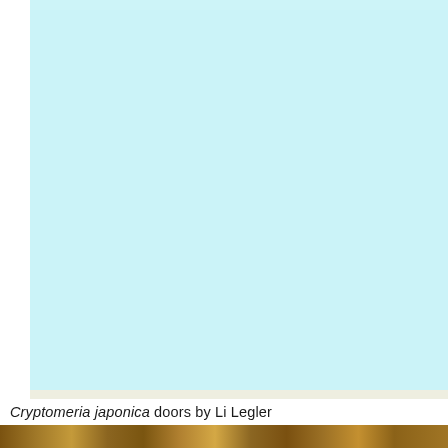[Figure (photo): Large light blue background area filling most of the page, representing a sky or background color swatch. A beige/cream horizontal strip appears near the bottom of the blue area.]
Cryptomeria japonica doors by Li Legler
[Figure (photo): Partial photo of wooden doors or wood panel showing warm brown wood grain, visible at the very bottom of the page.]